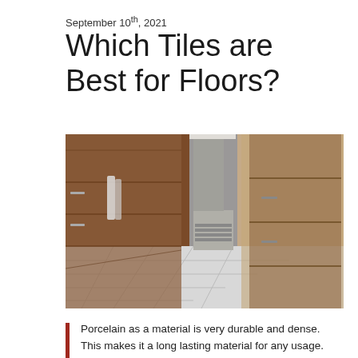September 10th, 2021
Which Tiles are Best for Floors?
[Figure (photo): Interior kitchen photo showing wooden cabinetry on both sides with light gray large-format floor tiles visible in the center aisle, with a stainless steel appliance in the background.]
Porcelain as a material is very durable and dense. This makes it a long lasting material for any usage.  But for